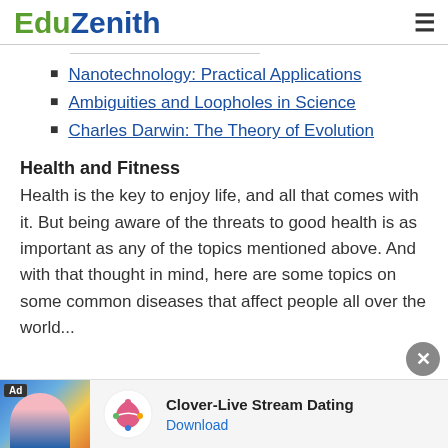EduZenith
Nanotechnology: Practical Applications
Ambiguities and Loopholes in Science
Charles Darwin: The Theory of Evolution
Health and Fitness
Health is the key to enjoy life, and all that comes with it. But being aware of the threats to good health is as important as any of the topics mentioned above. And with that thought in mind, here are some topics on some common diseases that affect people all over the world...
[Figure (other): Advertisement banner at the bottom: Clover-Live Stream Dating app ad with photo, logo, and Download link]